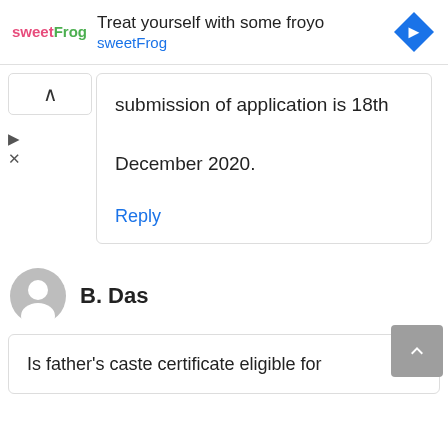[Figure (screenshot): Ad banner for sweetFrog frozen yogurt showing logo, tagline 'Treat yourself with some froyo', brand name 'sweetFrog', and a blue navigation arrow icon]
submission of application is 18th December 2020.
Reply
B. Das
Is father's caste certificate eligible for